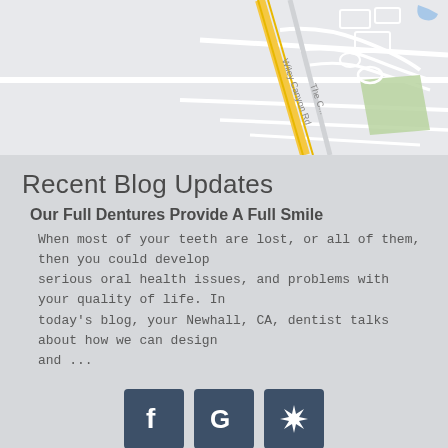[Figure (map): Street map showing Wiley Canyon Rd and surrounding streets in Newhall, CA area, with yellow road markings and green park area]
Recent Blog Updates
Our Full Dentures Provide A Full Smile
When most of your teeth are lost, or all of them, then you could develop serious oral health issues, and problems with your quality of life. In today's blog, your Newhall, CA, dentist talks about how we can design and ...
[Figure (logo): Facebook, Google, and Yelp social media icons in dark blue-gray square buttons]
© 2022 Newhall Dental Arts. Website Designed and Maintained by MDPM DENTAL MARKETING